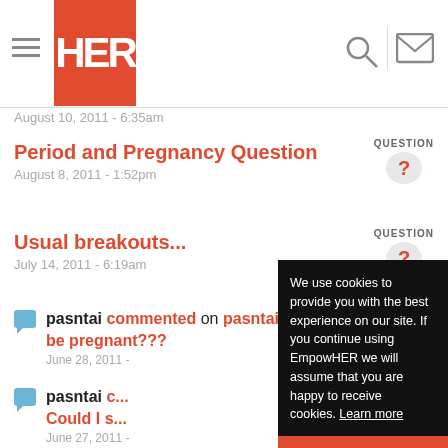HER (logo) - navigation header with hamburger menu, search, and mail icons
August 10, 2011 - 6:35am
Period and Pregnancy Question
August 8, 2011 - 1:52pm
Usual breakouts...
July 14, 2011 - 6:19am
pasntai commented on pasntai's post Could I still be pregnant???
June 28, 2011 -
pasntai c... Could I s...
June 27, 2011 -
We use cookies to provide you with the best experience on our site. If you continue using EmpowHER we will assume that you are happy to receive cookies. Learn more
Got it!